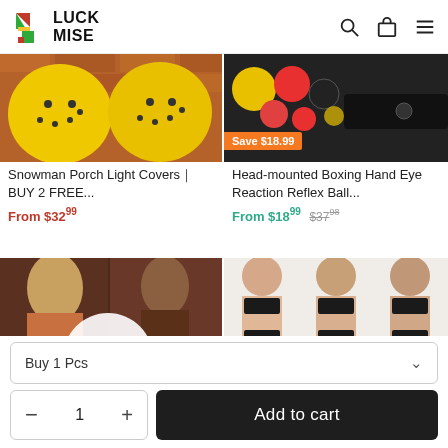Luck Mise
[Figure (photo): Yellow snowman porch light covers product image]
Snowman Porch Light Covers｜BUY 2 FREE...
From $32.99
[Figure (photo): Head-mounted boxing reflex ball set with Save $18.99 badge]
Head-mounted Boxing Hand Eye Reaction Reflex Ball...
From $18.99  $37.98
[Figure (photo): Romantic couple product image]
[Figure (photo): Women's black lingerie/bra product image]
Buy 1 Pcs
1
Add to cart